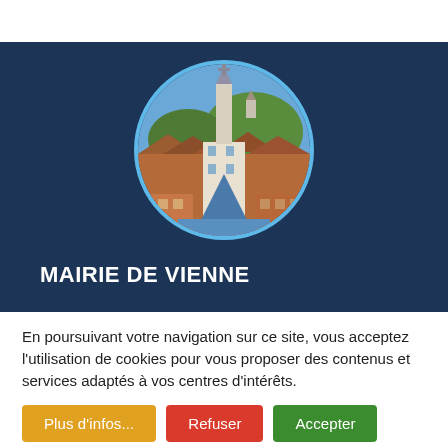[Figure (photo): Circular photo of Vienne cityscape showing a church steeple and rooftops with hills in the background, set against a dark navy blue background]
MAIRIE DE VIENNE
En poursuivant votre navigation sur ce site, vous acceptez l'utilisation de cookies pour vous proposer des contenus et services adaptés à vos centres d'intérêts.
Plus d'infos...
Refuser
Accepter